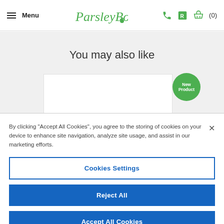Menu | ParsleyBox | (icons) (0)
You may also like
[Figure (other): Product card thumbnail with white background and a green circular badge reading 'New Product']
By clicking “Accept All Cookies”, you agree to the storing of cookies on your device to enhance site navigation, analyze site usage, and assist in our marketing efforts.
Cookies Settings
Reject All
Accept All Cookies